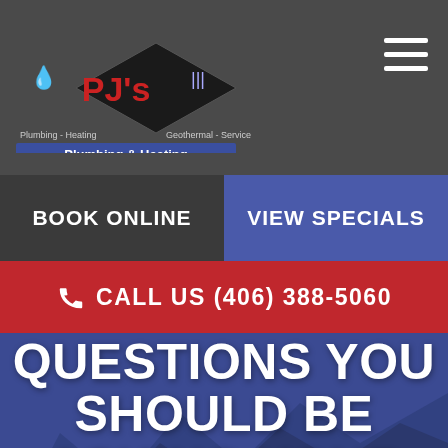[Figure (logo): PJ's Plumbing & Heating logo — black diamond shape with red PJ's text, tagline 'Plumbing - Heating · Geothermal - Service', blue banner below reading 'Plumbing & Heating']
BOOK ONLINE
VIEW SPECIALS
CALL US (406) 388-5060
QUESTIONS YOU SHOULD BE ASKING YOUR PLUMBER